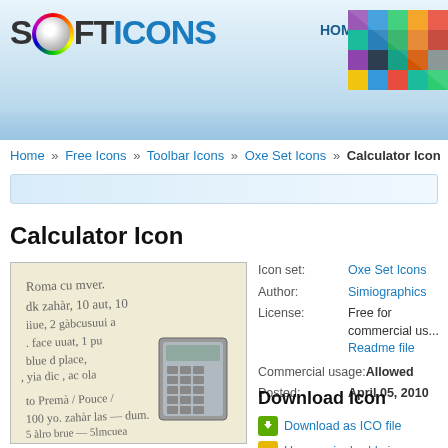[Figure (screenshot): Softicons website header with logo, navigation links HOME, FREE ICONS, ICON T..., and a colorful grid graphic in the top right]
Home » Free Icons » Toolbar Icons » Oxe Set Icons » Calculator Icon
Calculator Icon
[Figure (photo): Calculator icon preview showing a calculator image overlaid on a handwritten text background]
| Icon set: | Oxe Set Icons |
| Author: | Simiographics |
| License: | Free for commercial us... Readme file |
| Commercial usage: | Allowed |
| Posted: | April 05, 2010 |
Download Icon
Download as ICO file
Use as aim buddy icon